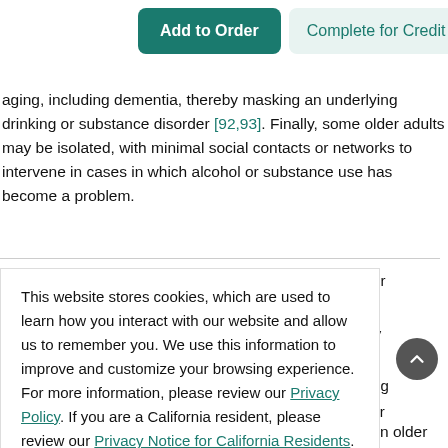[Figure (screenshot): Two buttons: 'Add to Order' (dark teal, rounded) and 'Complete for Credit' (light teal, rounded)]
aging, including dementia, thereby masking an underlying drinking or substance disorder [92,93]. Finally, some older adults may be isolated, with minimal social contacts or networks to intervene in cases in which alcohol or substance use has become a problem.
This website stores cookies, which are used to learn how you interact with our website and allow us to remember you. We use this information to improve and customize your browsing experience. For more information, please review our Privacy Policy. If you are a California resident, please review our Privacy Notice for California Residents.
ce, older al ergency lation is admitting sions for nursing ns related
[Figure (screenshot): Accept button (dark teal rounded rectangle)]
rs may
contribute to the development of alcohol use disorders in older age. Some may